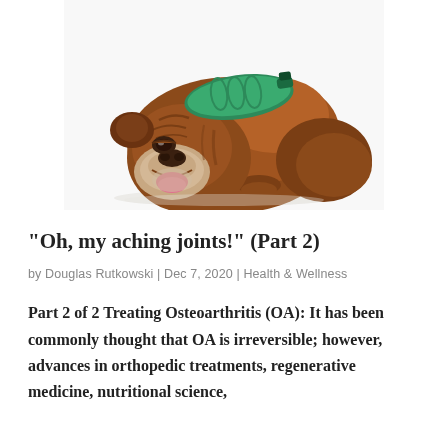[Figure (photo): A brown English Bulldog lying down with a green hot water bottle resting on its head, on a white background.]
“Oh, my aching joints!” (Part 2)
by Douglas Rutkowski | Dec 7, 2020 | Health & Wellness
Part 2 of 2 Treating Osteoarthritis (OA): It has been commonly thought that OA is irreversible; however, advances in orthopedic treatments, regenerative medicine, nutritional science,